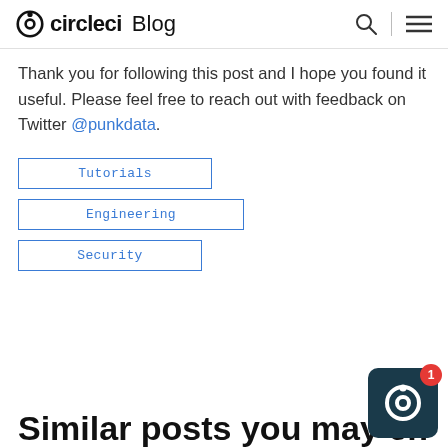circleci Blog
Thank you for following this post and I hope you found it useful. Please feel free to reach out with feedback on Twitter @punkdata.
Tutorials
Engineering
Security
Similar posts you may en...